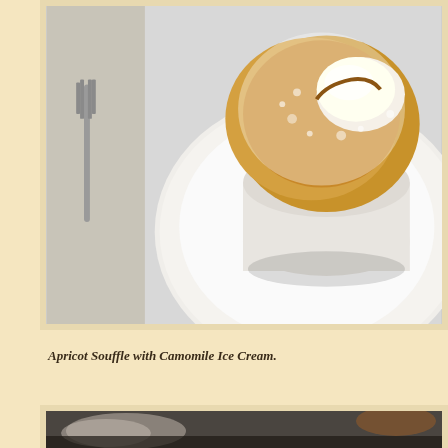[Figure (photo): Top-down view of an apricot soufflé dusted with powdered sugar and topped with a scoop of ice cream, served in a white ramekin on a white plate. A silver fork is visible in the upper left on a white tablecloth.]
Apricot Souffle with Camomile Ice Cream.
[Figure (photo): Partial view of another dish or table setting, blurred, visible only at the bottom of the page.]